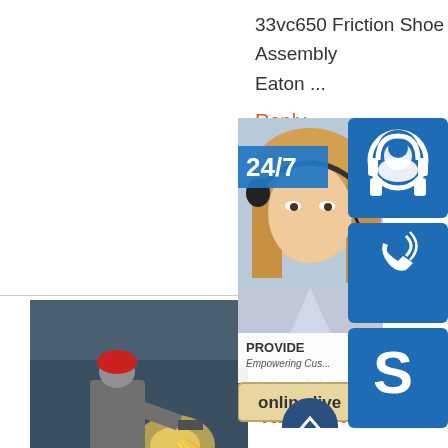33vc650 Friction Shoe Assembly Eaton ...
Reply
[Figure (photo): Worker in industrial setting grinding or cutting metal with sparks flying]
150 M3 Cryogenic Liquid CO2 Storage Tank For LNG
150 M3 Lng Co2 Liquid Cryogenic Natural Gas Storage Tanks 150 M3 Lng Co2 Liquid Cryogenic Natural ...
[Figure (photo): Customer service representative with headset, 24/7 support overlay with blue icon buttons for chat, phone, and Skype, online live button]